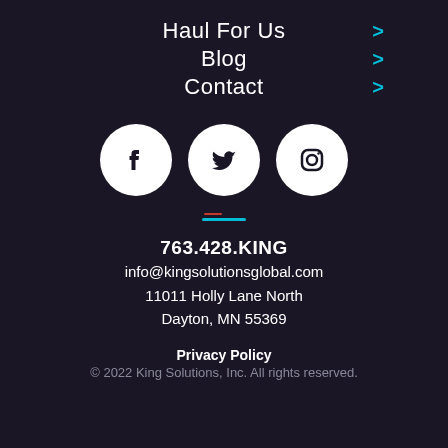Haul For Us >
Blog >
Contact >
[Figure (illustration): Three white social media icons on dark background: Facebook (f), Twitter (bird), Instagram (camera)]
763.428.KING
info@kingsolutionsglobal.com
11011 Holly Lane North
Dayton, MN 55369
Privacy Policy
© 2022 King Solutions, Inc. All rights reserved.